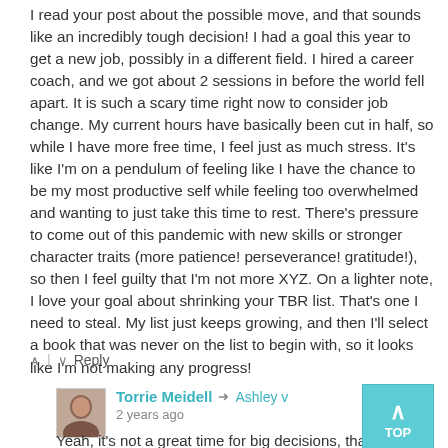I read your post about the possible move, and that sounds like an incredibly tough decision! I had a goal this year to get a new job, possibly in a different field. I hired a career coach, and we got about 2 sessions in before the world fell apart. It is such a scary time right now to consider job change. My current hours have basically been cut in half, so while I have more free time, I feel just as much stress. It's like I'm on a pendulum of feeling like I have the chance to be my most productive self while feeling too overwhelmed and wanting to just take this time to rest. There's pressure to come out of this pandemic with new skills or stronger character traits (more patience! perseverance! gratitude!), so then I feel guilty that I'm not more XYZ. On a lighter note, I love your goal about shrinking your TBR list. That's one I need to steal. My list just keeps growing, and then I'll select a book that was never on the list to begin with, so it looks like I'm not making any progress!
↑ | ↓  Reply
Torrie Meidell → Ashley v
2 years ago
Yeah, it's not a great time for big decisions, that's for sure! I